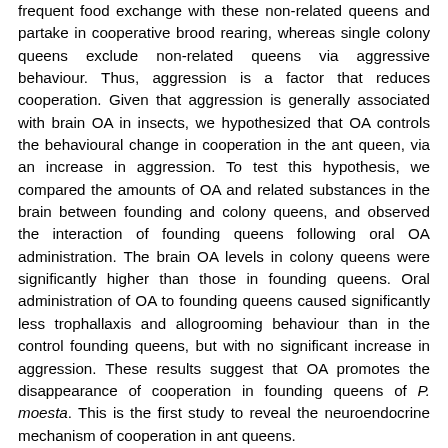frequent food exchange with these non-related queens and partake in cooperative brood rearing, whereas single colony queens exclude non-related queens via aggressive behaviour. Thus, aggression is a factor that reduces cooperation. Given that aggression is generally associated with brain OA in insects, we hypothesized that OA controls the behavioural change in cooperation in the ant queen, via an increase in aggression. To test this hypothesis, we compared the amounts of OA and related substances in the brain between founding and colony queens, and observed the interaction of founding queens following oral OA administration. The brain OA levels in colony queens were significantly higher than those in founding queens. Oral administration of OA to founding queens caused significantly less trophallaxis and allogrooming behaviour than in the control founding queens, but with no significant increase in aggression. These results suggest that OA promotes the disappearance of cooperation in founding queens of P. moesta. This is the first study to reveal the neuroendocrine mechanism of cooperation in ant queens.